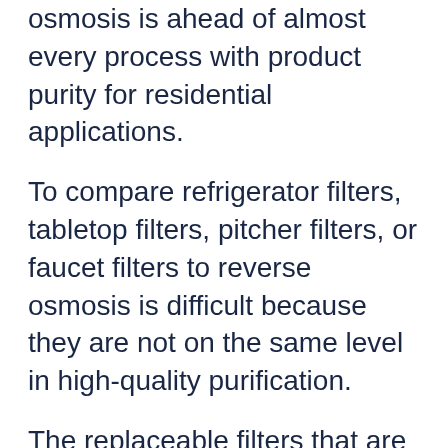osmosis is ahead of almost every process with product purity for residential applications.
To compare refrigerator filters, tabletop filters, pitcher filters, or faucet filters to reverse osmosis is difficult because they are not on the same level in high-quality purification.
The replaceable filters that are used in refrigerators or attached to faucets remove a very small amount of the contaminants from the spectrum that is found in municipal water. While these filters remove